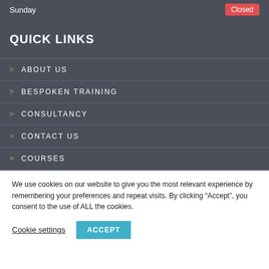Sunday
Closed
QUICK LINKS
ABOUT US
BESPOKEN TRAINING
CONSULTANCY
CONTACT US
COURSES
We use cookies on our website to give you the most relevant experience by remembering your preferences and repeat visits. By clicking “Accept”, you consent to the use of ALL the cookies.
Cookie settings
ACCEPT